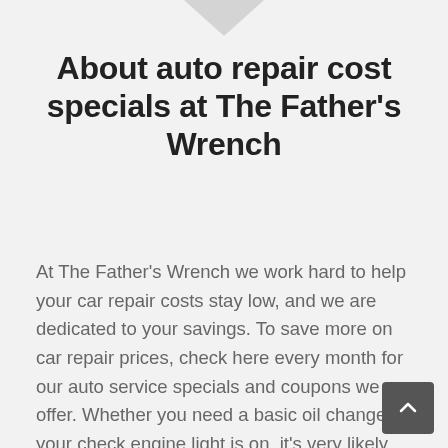About auto repair cost specials at The Father's Wrench
At The Father's Wrench we work hard to help your car repair costs stay low, and we are dedicated to your savings. To save more on car repair prices, check here every month for our auto service specials and coupons we offer. Whether you need a basic oil change or your check engine light is on, it's very likely that watching our “specials” page can benefit you.